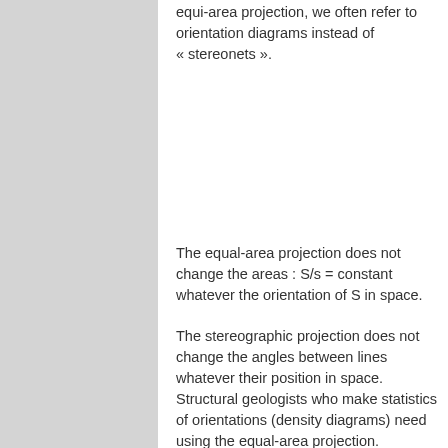equi-area projection, we often refer to orientation diagrams instead of « stereonets ».
The equal-area projection does not change the areas : S/s = constant whatever the orientation of S in space.
The stereographic projection does not change the angles between lines whatever their position in space. Structural geologists who make statistics of orientations (density diagrams) need using the equal-area projection.